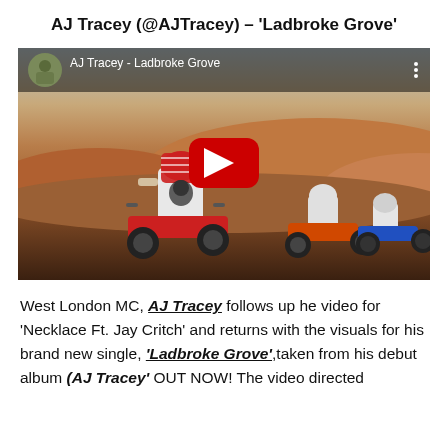AJ Tracey (@AJTracey) – 'Ladbroke Grove'
[Figure (screenshot): YouTube video embed thumbnail showing AJ Tracey - Ladbroke Grove music video. Desert scene with people on quad bikes. YouTube play button overlay and channel header bar with avatar and video title.]
West London MC, AJ Tracey follows up he video for 'Necklace Ft. Jay Critch' and returns with the visuals for his brand new single, 'Ladbroke Grove',taken from his debut album (AJ Tracey' OUT NOW! The video directed